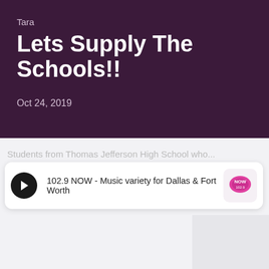Tara
Lets Supply The Schools!!
Oct 24, 2019
Students from Thomas Jefferson High School who...
[Figure (screenshot): Radio player widget showing 102.9 NOW - Music variety for Dallas & Fort Worth with play button and station logo]